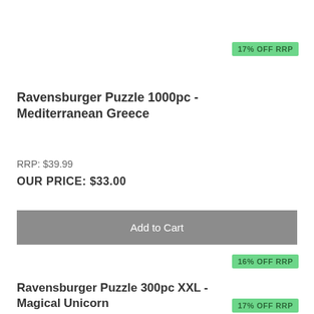17% OFF RRP
Ravensburger Puzzle 1000pc - Mediterranean Greece
RRP: $39.99
OUR PRICE: $33.00
Add to Cart
16% OFF RRP
Ravensburger Puzzle 300pc XXL - Magical Unicorn
RRP: $24.99
OUR PRICE: $21.00
Add to Cart
17% OFF RRP